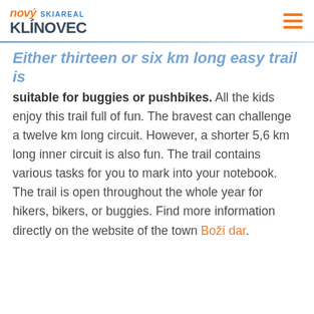nový SKIAREAL KLINOVEC
Either thirteen or six km long easy trail is suitable for buggies or pushbikes. All the kids enjoy this trail full of fun. The bravest can challenge a twelve km long circuit. However, a shorter 5,6 km long inner circuit is also fun. The trail contains various tasks for you to mark into your notebook. The trail is open throughout the whole year for hikers, bikers, or buggies. Find more information directly on the website of the town Boží dar.